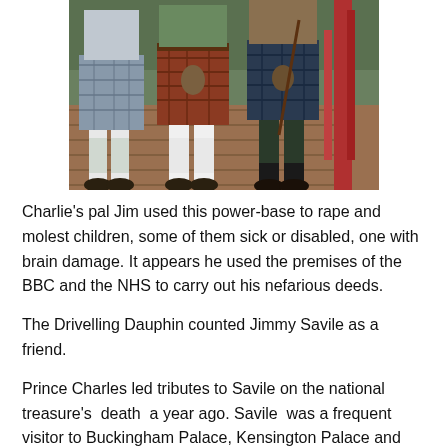[Figure (photo): Three people wearing kilts and walking on a wooden bridge or deck, viewed from the waist down. Red wooden railing visible on the right side.]
Charlie's pal Jim used this power-base to rape and molest children, some of them sick or disabled, one with brain damage. It appears he used the premises of the BBC and the NHS to carry out his nefarious deeds.
The Drivelling Dauphin counted Jimmy Savile as a friend.
Prince Charles led tributes to Savile on the national treasure's death a year ago. Savile was a frequent visitor to Buckingham Palace, Kensington Palace and Highgrove